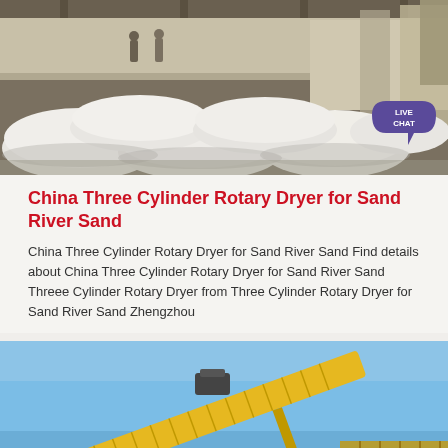[Figure (photo): Industrial warehouse interior showing large white bags/sacks of material stacked on the floor, with machinery and equipment visible in the background. Workers visible in background. A live chat badge is overlaid in the bottom-right corner.]
China Three Cylinder Rotary Dryer for Sand River Sand
China Three Cylinder Rotary Dryer for Sand River Sand Find details about China Three Cylinder Rotary Dryer for Sand River Sand Threee Cylinder Rotary Dryer from Three Cylinder Rotary Dryer for Sand River Sand Zhengzhou
[Figure (photo): Outdoor industrial scene showing a yellow conveyor belt / conveyor system against a clear blue sky. Industrial equipment for sand or aggregate processing.]